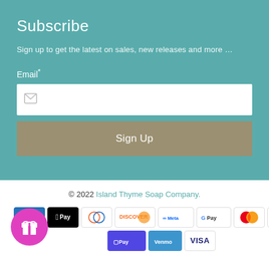Subscribe
Sign up to get the latest on sales, new releases and more …
Email*
Sign Up
© 2022 Island Thyme Soap Company.
[Figure (infographic): Payment method logos: American Express, Apple Pay, Diners Club, Discover, Meta Pay, Google Pay, Mastercard, PayPal, Shop Pay, Venmo, Visa. Also a pink circular gift/rewards button.]